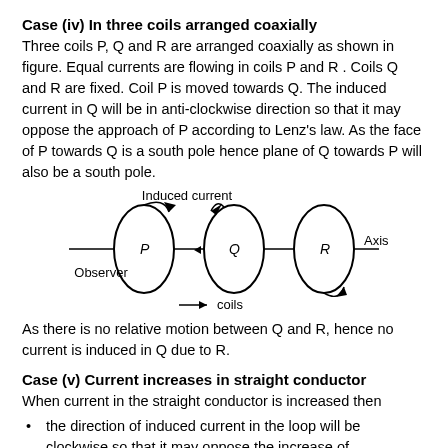Case (iv) In three coils arranged coaxially
Three coils P, Q and R are arranged coaxially as shown in figure. Equal currents are flowing in coils P and R . Coils Q and R are fixed. Coil P is moved towards Q. The induced current in Q will be in anti-clockwise direction so that it may oppose the approach of P according to Lenz's law. As the face of P towards Q is a south pole hence plane of Q towards P will also be a south pole.
[Figure (illustration): Diagram showing three coils P, Q and R arranged coaxially on a horizontal axis. Coil Q has an arrow indicating induced current. Labels show 'Induced current' above Q, 'Observer' to the left, 'Axis' to the right of R, and 'coils' with an arrow below.]
As there is no relative motion between Q and R, hence no current is induced in Q due to R.
Case (v) Current increases in straight conductor
When current in the straight conductor is increased then
the direction of induced current in the loop will be clockwise so that it may oppose the increase of